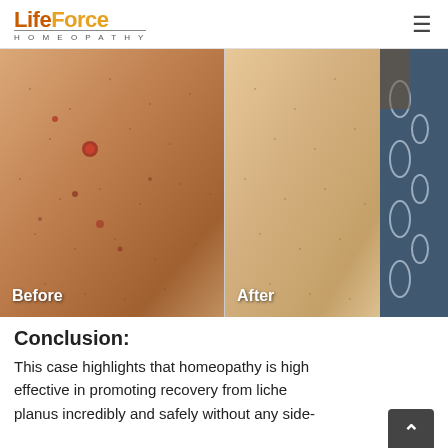LifeForce HOMEOPATHY
[Figure (photo): Before and after comparison photos of a patient's forearm showing lichen planus skin condition. Left image labeled 'Before' shows red spots/lesions on skin. Right image labeled 'After' shows cleared skin without lesions.]
Conclusion:
This case highlights that homeopathy is highly effective in promoting recovery from lichen planus incredibly and safely without any side-